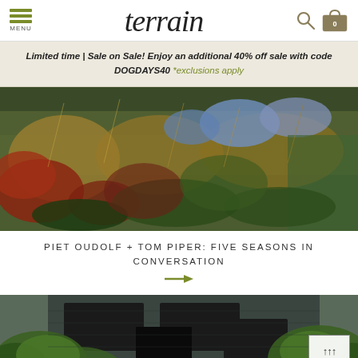MENU | terrain | [search] [bag 0]
Limited time | Sale on Sale! Enjoy an additional 40% off sale with code DOGDAYS40 *exclusions apply
[Figure (photo): Lush garden border with ornamental grasses, red foliage, and blue flowering plants]
PIET OUDOLF + TOM PIPER: FIVE SEASONS IN CONVERSATION
[Figure (photo): Exterior of a building with dark gray siding, large windows, and surrounding green trees and shrubs]